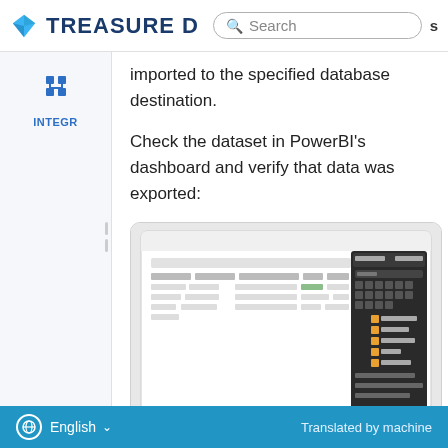TREASURE D [Search bar] [s]
imported to the specified database destination.
Check the dataset in PowerBI's dashboard and verify that data was exported:
[Figure (screenshot): Screenshot of PowerBI dashboard showing a dataset table with columns and a dark-themed panel on the right side with visualizations and fields.]
English ∨    Translated by machine